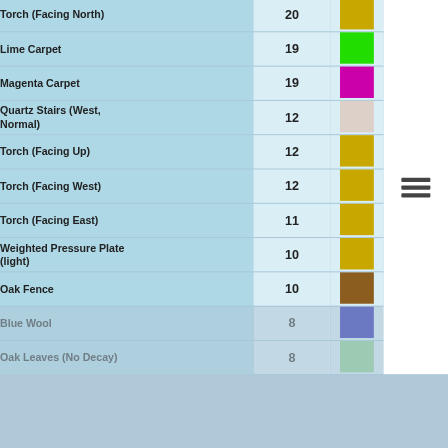| Item | Count | Color |
| --- | --- | --- |
| Torch (Facing North) | 20 | goldenrod |
| Lime Carpet | 19 | lime |
| Magenta Carpet | 19 | magenta |
| Quartz Stairs (West, Normal) | 12 | beige |
| Torch (Facing Up) | 12 | goldenrod |
| Torch (Facing West) | 12 | goldenrod |
| Torch (Facing East) | 11 | goldenrod |
| Weighted Pressure Plate (light) | 10 | goldenrod |
| Oak Fence | 10 | brown |
| Blue Wool | 8 | blue |
| Oak Leaves (No Decay) | 8 | lightgreen |